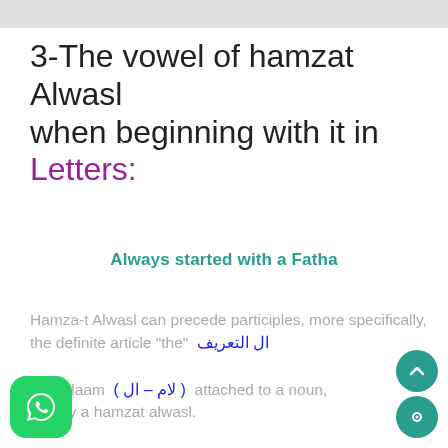3-The vowel of hamzat Alwasl when beginning with it in Letters:
Always started with a Fatha
Hamza-t Alwasl can precede participles, more specifically, the definite article "the"  ال التعريف
a is a laam  ( لام - ال )  attached to a noun, ded by a hamzat alwasl.